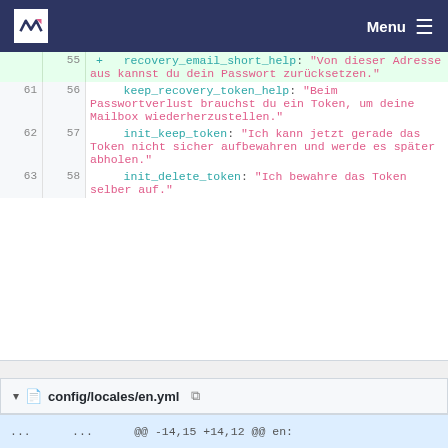Menu
| old | new | code |
| --- | --- | --- |
|  | 55 | + recovery_email_short_help: "Von dieser Adresse aus kannst du dein Passwort zurücksetzen." |
| 61 | 56 |   keep_recovery_token_help: "Beim Passwortverlust brauchst du ein Token, um deine Mailbox wiederherzustellen." |
| 62 | 57 |   init_keep_token: "Ich kann jetzt gerade das Token nicht sicher aufbewahren und werde es später abholen." |
| 63 | 58 |   init_delete_token: "Ich bewahre das Token selber auf." |
config/locales/en.yml
... ... @@ -14,15 +14,12 @@ en: